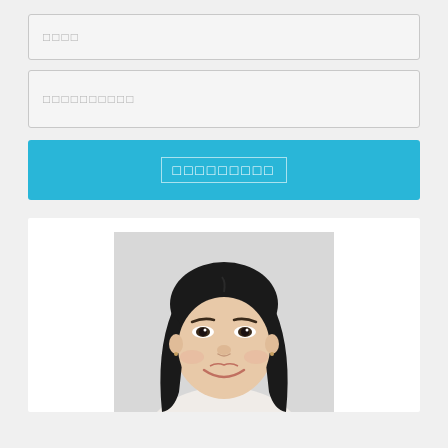□□□□
□□□□□□□□□□
□□□□□□□□□
[Figure (photo): Portrait photo of a young East Asian woman with long dark hair, smiling, against a light gray background]